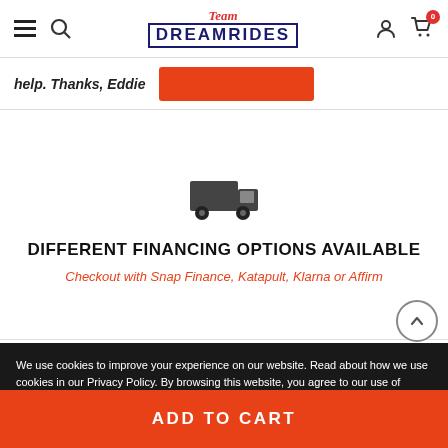Team DreamRides navigation header with hamburger menu, search icon, logo, user icon, and cart with badge 0
help. Thanks, Eddie
[Figure (illustration): Delivery truck icon (dark gray)]
DIFFERENT FINANCING OPTIONS AVAILABLE
Checkout with Snap Finance, Katapult, Klarna or Affirm
We use cookies to improve your experience on our website. Read about how we use cookies in our Privacy Policy. By browsing this website, you agree to our use of cookies.
Privacy Policy
CONTACT
INFORMATION
ACCEPT
ADD TO CART